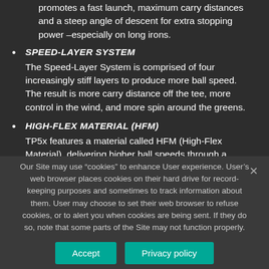promotes a fast launch, maximum carry distances and a steep angle of descent for extra stopping power –especially on long irons.
SPEED-LAYER SYSTEM
The Speed-Layer System is comprised of four increasingly stiff layers to produce more ball speed. The result is more carry distance off the tee, more control in the wind, and more spin around the greens.
HIGH-FLEX MATERIAL (HFM)
TP5x features a material called HFM (High-Flex Material), delivering higher ball speeds through a greater rebound effect. HFM acts like a
Our Site may use “cookies” to enhance User experience. User’s web browser places cookies on their hard drive for record-keeping purposes and sometimes to track information about them. User may choose to set their web browser to refuse cookies, or to alert you when cookies are being sent. If they do so, note that some parts of the Site may not function properly.
Accept
Privacy policy